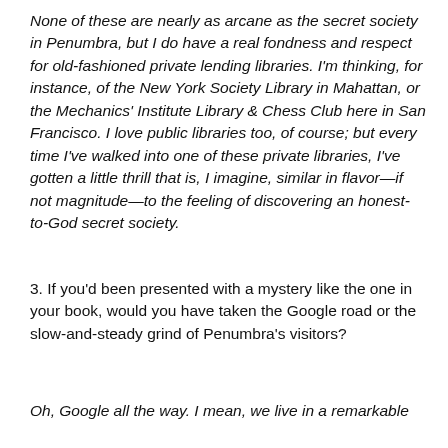None of these are nearly as arcane as the secret society in Penumbra, but I do have a real fondness and respect for old-fashioned private lending libraries. I'm thinking, for instance, of the New York Society Library in Mahattan, or the Mechanics' Institute Library & Chess Club here in San Francisco. I love public libraries too, of course; but every time I've walked into one of these private libraries, I've gotten a little thrill that is, I imagine, similar in flavor—if not magnitude—to the feeling of discovering an honest-to-God secret society.
3. If you'd been presented with a mystery like the one in your book, would you have taken the Google road or the slow-and-steady grind of Penumbra's visitors?
Oh, Google all the way. I mean, we live in a remarkable